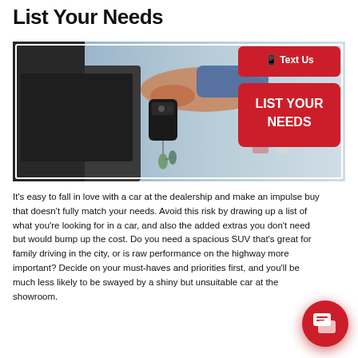List Your Needs
[Figure (photo): Photo of a hand holding car keys near a car door, with a red overlay badge reading LIST YOUR NEEDS and a Text Us button in the top right corner of the image.]
It's easy to fall in love with a car at the dealership and make an impulse buy that doesn't fully match your needs. Avoid this risk by drawing up a list of what you're looking for in a car, and also the added extras you don't need but would bump up the cost. Do you need a spacious SUV that's great for family driving in the city, or is raw performance on the highway more important? Decide on your must-haves and priorities first, and you'll be much less likely to be swayed by a shiny but unsuitable car at the showroom.